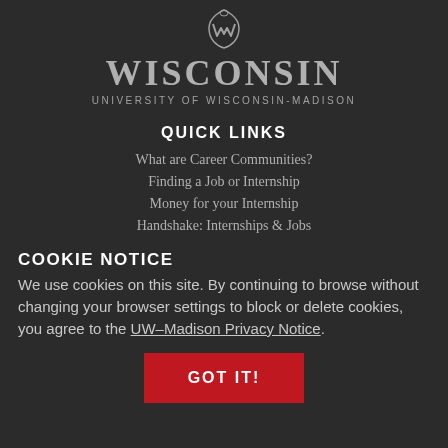[Figure (logo): University of Wisconsin-Madison logo with crest, WISCONSIN wordmark, and subtitle UNIVERSITY OF WISCONSIN-MADISON]
QUICK LINKS
What are Career Communities?
Finding a Job or Internship
Money for your Internship
Handshake: Internships & Jobs
COOKIE NOTICE
We use cookies on this site. By continuing to browse without changing your browser settings to block or delete cookies, you agree to the UW–Madison Privacy Notice.
GOT IT!